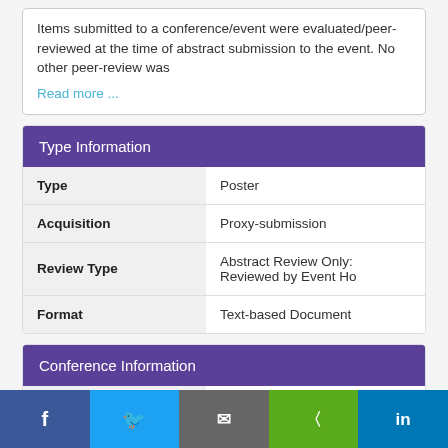Items submitted to a conference/event were evaluated/peer-reviewed at the time of abstract submission to the event. No other peer-review was
Read more ...
Type Information
| Type | Poster |
| Acquisition | Proxy-submission |
| Review Type | Abstract Review Only: Reviewed by Event Ho |
| Format | Text-based Document |
Conference Information
| Name | 44th Biennial Convention |